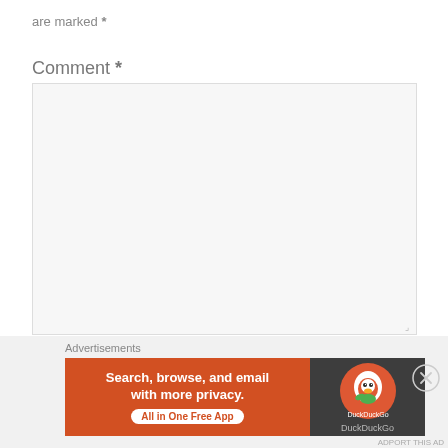are marked *
Comment *
[Figure (screenshot): Empty comment textarea form field with light gray background and resize handle]
Name
[Figure (screenshot): Name text input field, partially visible]
Advertisements
[Figure (screenshot): DuckDuckGo advertisement banner: orange left panel with 'Search, browse, and email with more privacy. All in One Free App' and dark right panel with DuckDuckGo logo]